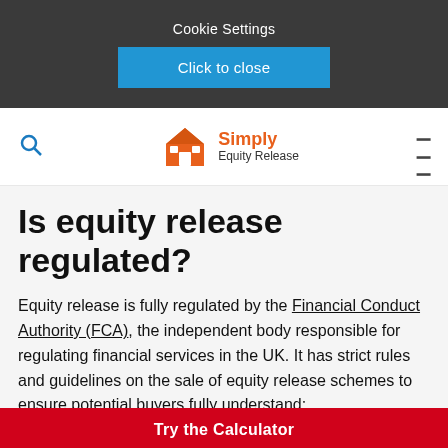Cookie Settings
Click to close
[Figure (logo): Simply Equity Release logo with orange house icon]
Is equity release regulated?
Equity release is fully regulated by the Financial Conduct Authority (FCA), the independent body responsible for regulating financial services in the UK. It has strict rules and guidelines on the sale of equity release schemes to ensure potential buyers fully understand:
Try the Calculator